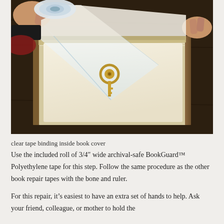[Figure (photo): Hands holding open a hollowed-out book with a gold key resting inside. One hand holds a wide clear tape over the inside book cover during a book repair process.]
clear tape binding inside book cover
Use the included roll of 3/4″ wide archival-safe BookGuard™ Polyethylene tape for this step. Follow the same procedure as the other book repair tapes with the bone and ruler.
For this repair, it’s easiest to have an extra set of hands to help. Ask your friend, colleague, or mother to hold the